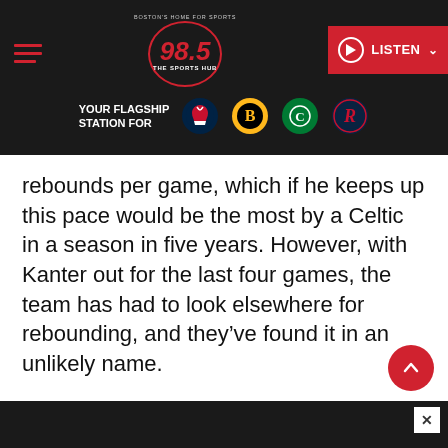[Figure (screenshot): 98.5 The Sports Hub radio station website header with navigation hamburger menu, logo, and LISTEN button]
[Figure (infographic): YOUR FLAGSHIP STATION FOR banner with New England Patriots, Boston Bruins, Boston Celtics, and Revolution team logos]
rebounds per game, which if he keeps up this pace would be the most by a Celtic in a season in five years. However, with Kanter out for the last four games, the team has had to look elsewhere for rebounding, and they've found it in an unlikely name.
It's no secret Gordon Hayward has been on an offensive tear recently. But perhaps more